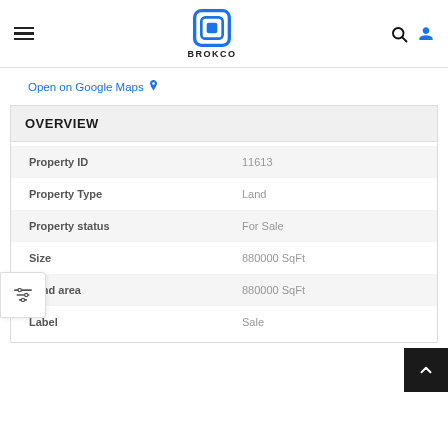BROKCO
Open on Google Maps
OVERVIEW
| Property | Value |
| --- | --- |
| Property ID | 11613 |
| Property Type | Land |
| Property status | For Sale |
| Size | 880000 SqFt |
| Land area | 880000 SqFt |
| Label | Sale |